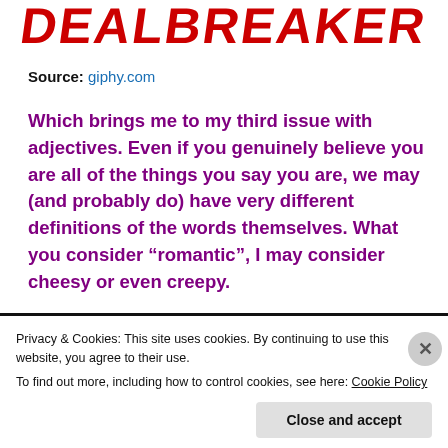[Figure (logo): Dealbreaker logo in red bold italic uppercase text]
Source: giphy.com
Which brings me to my third issue with adjectives. Even if you genuinely believe you are all of the things you say you are, we may (and probably do) have very different definitions of the words themselves. What you consider “romantic”, I may consider cheesy or even creepy.
Privacy & Cookies: This site uses cookies. By continuing to use this website, you agree to their use.
To find out more, including how to control cookies, see here: Cookie Policy